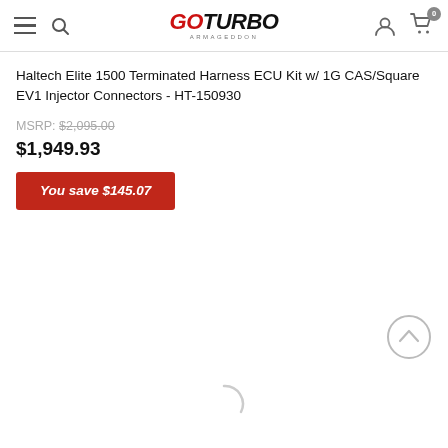GoTurbo Armageddon — navigation header with hamburger menu, search, logo, user icon, cart (0)
Haltech Elite 1500 Terminated Harness ECU Kit w/ 1G CAS/Square EV1 Injector Connectors - HT-150930
MSRP: $2,095.00
$1,949.93
You save $145.07